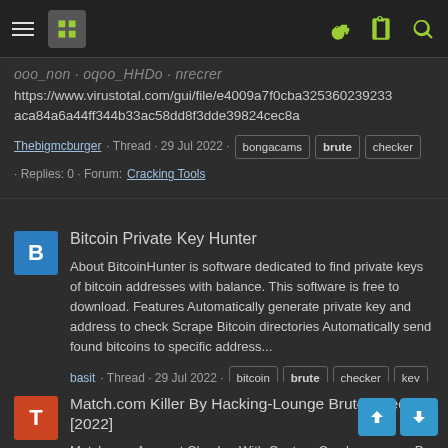Navigation bar with hamburger menu, logo, key icon, clipboard icon, and search icon
https://www.virustotal.com/gui/file/e4009a7f0cba325360239233aca84a6a44ff344b33ac58dd8f3dde39824cec8a
Thebigmcburger · Thread · 29 Jul 2022 · bongacams brute checker · Replies: 0 · Forum: Cracking Tools
Bitcoin Private Key Hunter
About BitcoinHunter is software dedicated to find private keys of bitcoin addresses with balance. This software is free to download. Features Automatically generate private key and address to check Scrape Bitcoin directories Automatically send found bitcoins to specific address...
basit · Thread · 29 Jul 2022 · bitcoin brute checker key · Replies: 0 · Forum: Cracking Tools
Match.com Killer By Hacking-Lounge Brute/Checker [2022]
Match.com Account Checker With Capture Combo: Pa Proxy: Yes Capture: Yes Download https://image.nofile/DiziHY7L/ielCyyFyRzERuV/hoI4UO1JROc...